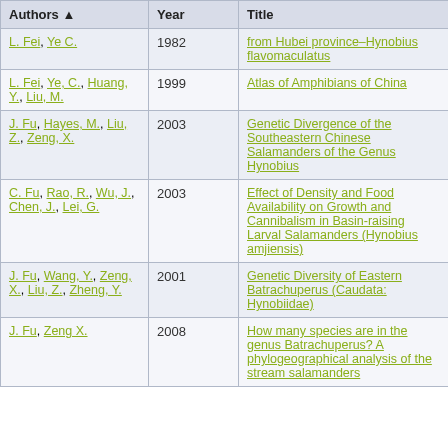| Authors | Year | Title |
| --- | --- | --- |
| L. Fei, Ye C. | 1982 | from Hubei province–Hynobius flavomaculatus |
| L. Fei, Ye, C., Huang, Y., Liu, M. | 1999 | Atlas of Amphibians of China |
| J. Fu, Hayes, M., Liu, Z., Zeng, X. | 2003 | Genetic Divergence of the Southeastern Chinese Salamanders of the Genus Hynobius |
| C. Fu, Rao, R., Wu, J., Chen, J., Lei, G. | 2003 | Effect of Density and Food Availability on Growth and Cannibalism in Basin-raising Larval Salamanders (Hynobius amjiensis) |
| J. Fu, Wang, Y., Zeng, X., Liu, Z., Zheng, Y. | 2001 | Genetic Diversity of Eastern Batrachuperus (Caudata: Hynobiidae) |
| J. Fu, Zeng X. | 2008 | How many species are in the genus Batrachuperus? A phylogeographical analysis of the stream salamanders |